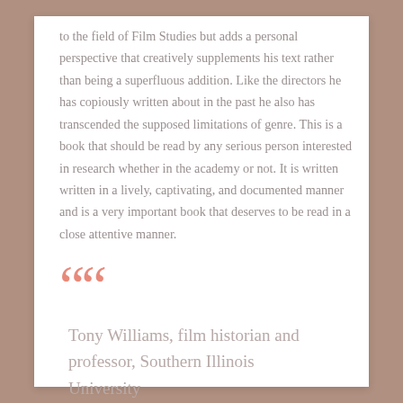to the field of Film Studies but adds a personal perspective that creatively supplements his text rather than being a superfluous addition. Like the directors he has copiously written about in the past he also has transcended the supposed limitations of genre. This is a book that should be read by any serious person interested in research whether in the academy or not. It is written written in a lively, captivating, and documented manner and is a very important book that deserves to be read in a close attentive manner.
““
Tony Williams, film historian and professor, Southern Illinois University